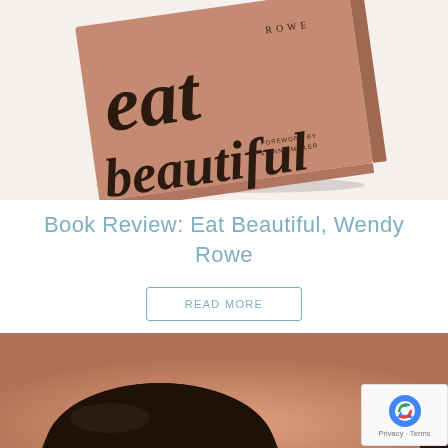[Figure (photo): Photo of the book 'Eat Beautiful' by Wendy Rowe, a terracotta/salmon-colored square book with large serif text on its cover, lying on a white surface at a slight angle. The cover shows 'eat beautiful' in large dark letters with 'Rowe' at top and 'Foreword by Sienna Miller' at bottom right.]
Book Review: Eat Beautiful, Wendy Rowe
READ MORE
[Figure (photo): Partial photo showing the tops of two people's heads with dark hair against a warm blurred background, cropped at the bottom of the page.]